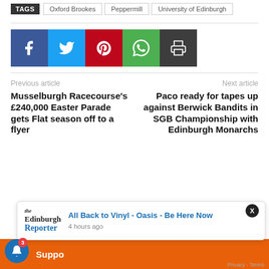TAGS  Oxford Brookes  Peppermill  University of Edinburgh
[Figure (infographic): Social sharing buttons row: Facebook (blue), Twitter (light blue), Pinterest (red), WhatsApp (green), Print (dark grey)]
Previous article
Musselburgh Racecourse's £240,000 Easter Parade gets Flat season off to a flyer
Next article
Paco ready for tapes up against Berwick Bandits in SGB Championship with Edinburgh Monarchs
[Figure (screenshot): Notification popup showing Edinburgh Reporter logo and article title: All Back to Vinyl - Oasis - Be Here Now, 4 hours ago. Close button X top right. Bell notification icon bottom left with badge showing 3. Support bar at bottom in orange.]